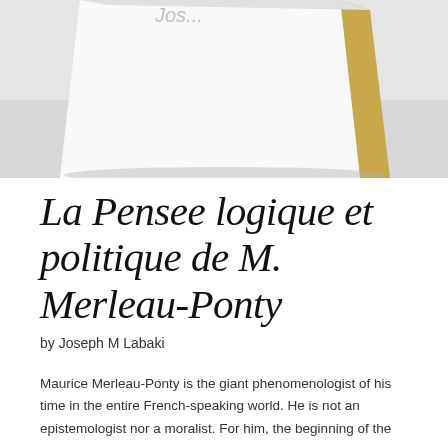[Figure (photo): A white book with gold spine resting at an angle on a grey surface, showing partial text 'Jos...' on the cover.]
La Pensee logique et politique de M. Merleau-Ponty
by Joseph M Labaki
Maurice Merleau-Ponty is the giant phenomenologist of his time in the entire French-speaking world. He is not an epistemologist nor a moralist. For him, the beginning of the